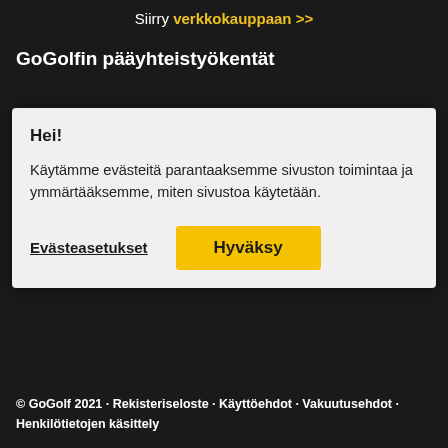Siirry verkkokauppaan >>
GoGolfin pääyhteistyökentät
Hei!
Käytämme evästeitä parantaaksemme sivuston toimintaa ja ymmärtääksemme, miten sivustoa käytetään.
Evästeasetukset   Hyväksy
© GoGolf 2021 · Rekisteriseloste · Käyttöehdot · Vakuutusehdot · Henkilötietojen käsittely